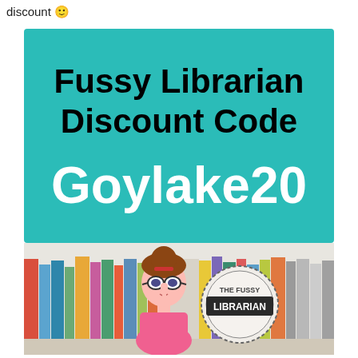discount 🙂
[Figure (illustration): Teal/turquoise promotional card for The Fussy Librarian showing bold black text 'Fussy Librarian Discount Code' and large white bold text 'Goylake20', with a bottom banner showing a row of colorful book spines, a cartoon illustration of a female librarian with glasses and brown hair making a shushing gesture, and a circular badge reading 'THE FUSSY LIBRARIAN']